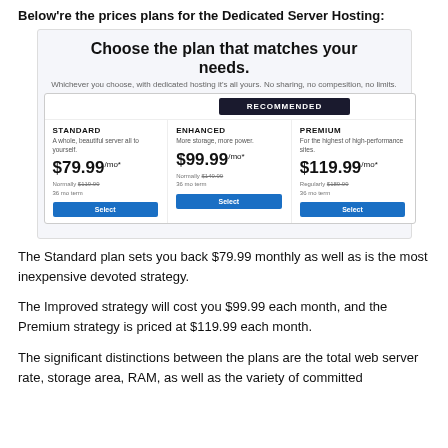Below're the prices plans for the Dedicated Server Hosting:
[Figure (screenshot): Pricing plan comparison screenshot showing three plans: Standard ($79.99/mo*), Enhanced ($99.99/mo*) with RECOMMENDED badge, and Premium ($119.99/mo*), each with a Select button.]
The Standard plan sets you back $79.99 monthly as well as is the most inexpensive devoted strategy.
The Improved strategy will cost you $99.99 each month, and the Premium strategy is priced at $119.99 each month.
The significant distinctions between the plans are the total web server rate, storage area, RAM, as well as the variety of committed